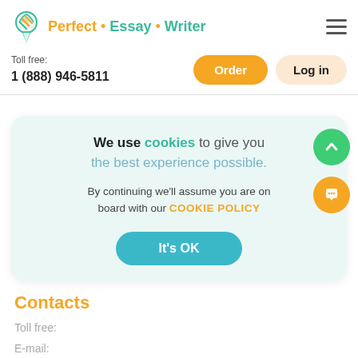[Figure (logo): Perfect Essay Writer logo with pencil/ice cream cone icon]
Toll free:
1 (888) 946-5811
Order
Log in
We use cookies to give you the best experience possible. By continuing we'll assume you are on board with our COOKIE POLICY
It's OK
Contacts
Toll free:
E-mail: